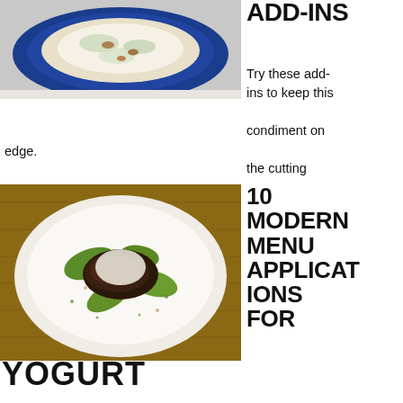[Figure (photo): Overhead shot of a blue bowl with a creamy white sauce dish topped with greens and walnuts]
ADD-INS
Try these add-ins to keep this condiment on the cutting edge.
[Figure (photo): Overhead shot of a white plate with blackened salmon, avocado slices, and garnishes on a wooden surface]
10 MODERN MENU APPLICATIONS FOR
YOGURT